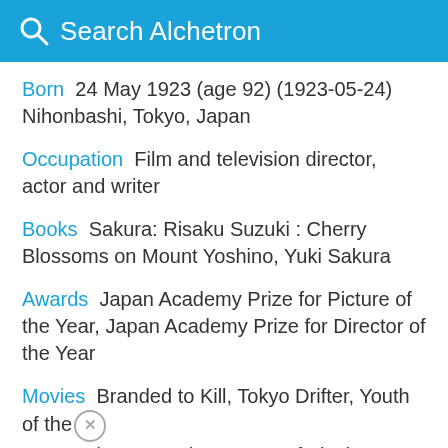Search Alchetron
Born  24 May 1923 (age 92) (1923-05-24) Nihonbashi, Tokyo, Japan
Occupation  Film and television director, actor and writer
Books  Sakura: Risaku Suzuki : Cherry Blossoms on Mount Yoshino, Yuki Sakura
Awards  Japan Academy Prize for Picture of the Year, Japan Academy Prize for Director of the Year
Movies  Branded to Kill, Tokyo Drifter, Youth of the Beast, Zigeunerweisen, Gate of Flesh